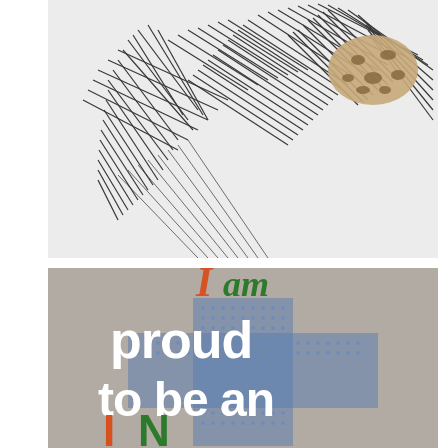[Figure (illustration): A sketch/illustration of a figure with dark spiky/feathery textures in black ink on white background, with a small leopard-print element at the top right.]
[Figure (photo): A photo of a grey t-shirt with text 'I am proud to be an' printed on it. 'I' is in red/orange italic script, 'am' is in green italic script, 'proud to be an' is in large white bold text overlaid on a blue halftone cross/plus pattern. At the bottom, colored text (red and green) is partially visible.]